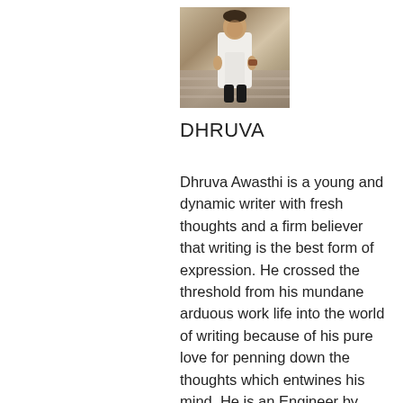[Figure (photo): Portrait photo of a person dressed in white clothing, standing outdoors on steps]
DHRUVA
Dhruva Awasthi is a young and dynamic writer with fresh thoughts and a firm believer that writing is the best form of expression. He crossed the threshold from his mundane arduous work life into the world of writing because of his pure love for penning down the thoughts which entwines his mind. He is an Engineer by profession and a writer by choice. He has a flair for writing on a wide array of genres spreading his wings from politics, food, health, spiritual to poetry, drama and fiction. Dhruva is methodical and punctilious and hopes to bring realism